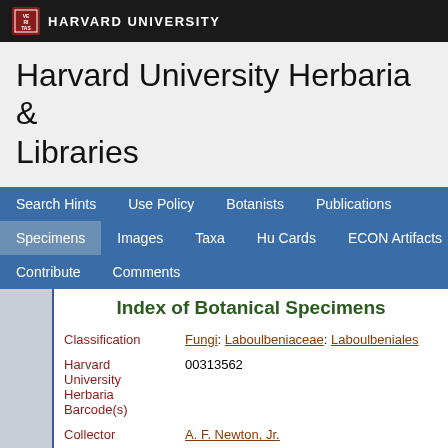HARVARD UNIVERSITY
Harvard University Herbaria & Libraries
Search Hints  Use Policy  Botanists  Publications  Specimens  Images  Taxa  Hu Cards  ECON Artifacts  Contribute  Comments
Index of Botanical Specimens
| Field | Value |
| --- | --- |
| Classification | Fungi: Laboulbeniaceae: Laboulbeniales |
| Harvard University Herbaria Barcode(s) | 00313562 |
| Collector | A. F. Newton, Jr. |
| Country | United States of America |
| State | Florida |
| Geography | North America: North America (CA, US, MX) (Region): United States of America: Florida: Highlands County |